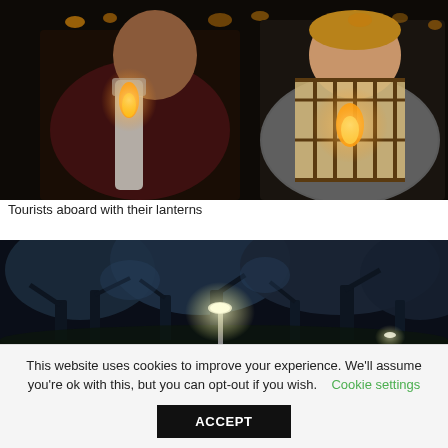[Figure (photo): Two tourists at night holding lanterns — one holding a tall cylindrical lantern in a bottle, the other holding a wooden cage-style lantern with a candle inside. Dark background with ambient lights.]
Tourists aboard with their lanterns
[Figure (photo): Night scene with bare-branched trees illuminated in blue light against a dark sky, with a street lamp visible in the background.]
This website uses cookies to improve your experience. We'll assume you're ok with this, but you can opt-out if you wish. Cookie settings ACCEPT